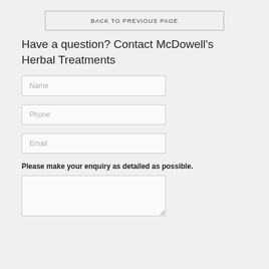BACK TO PREVIOUS PAGE
Have a question? Contact McDowell's Herbal Treatments
Name
Phone
Email
Please make your enquiry as detailed as possible.